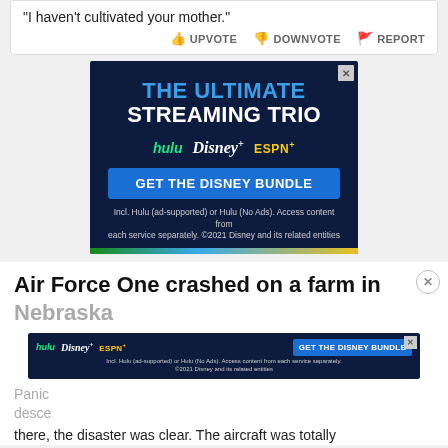"I haven't cultivated your mother."
UPVOTE  DOWNVOTE  REPORT
[Figure (advertisement): Disney Bundle advertisement with dark blue background showing 'THE ULTIMATE STREAMING TRIO' with Hulu, Disney+, ESPN+ logos and a 'GET THE DISNEY BUNDLE' button]
Air Force One crashed on a farm in Nebraska
[Figure (advertisement): Small Disney Bundle advertisement overlay showing Hulu, Disney+, ESPN+ logos and GET THE DISNEY BUNDLE button]
Panic descended as the news arrived, and when reporters got there, the disaster was clear. The aircraft was totally